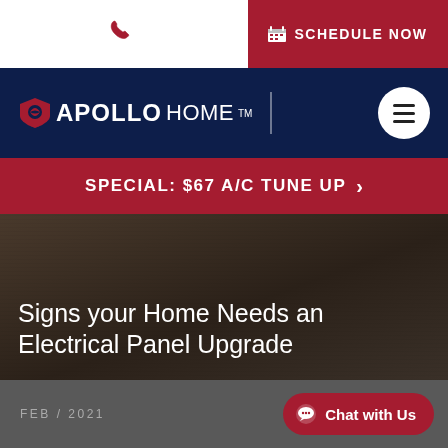[Figure (logo): Phone icon (red handset) in top-left white area]
SCHEDULE NOW
[Figure (logo): Apollo Home logo with shield icon on dark navy background, with hamburger menu button]
SPECIAL: $67 A/C TUNE UP >
Signs your Home Needs an Electrical Panel Upgrade
FEB / 2021
Chat with Us